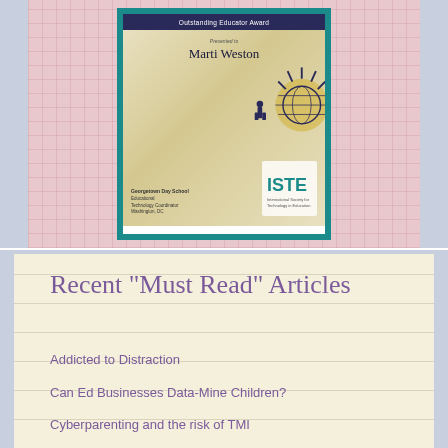[Figure (photo): ISTE Outstanding Educator Award certificate presented to Marti Weston from Georgetown Day School, Educational Technology Coordinator, Washington DC. The certificate has a teal border and dark navy header, with a gold/cream background and decorative graphic.]
Recent "Must Read" Articles
Addicted to Distraction
Can Ed Businesses Data-Mine Children?
Cyberparenting and the risk of TMI